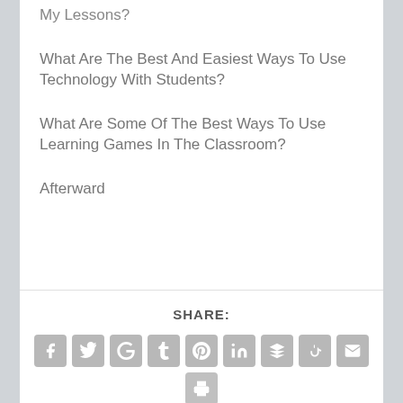My Lessons?
What Are The Best And Easiest Ways To Use Technology With Students?
What Are Some Of The Best Ways To Use Learning Games In The Classroom?
Afterward
SHARE:
[Figure (infographic): Row of 9 social share icon buttons (Facebook, Twitter, Google+, Tumblr, Pinterest, LinkedIn, Buffer, StumbleUpon, Email) and one print button below, all in gray rounded squares.]